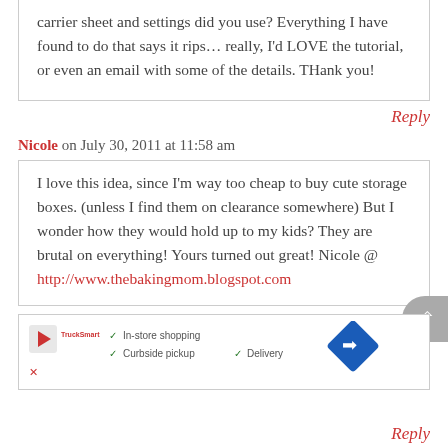carrier sheet and settings did you use? Everything I have found to do that says it rips… really, I'd LOVE the tutorial, or even an email with some of the details. THank you!
Reply
Nicole on July 30, 2011 at 11:58 am
I love this idea, since I'm way too cheap to buy cute storage boxes. (unless I find them on clearance somewhere) But I wonder how they would hold up to my kids? They are brutal on everything! Yours turned out great! Nicole @ http://www.thebakingmom.blogspot.com
[Figure (screenshot): Advertisement banner showing store shopping options: In-store shopping, Curbside pickup, Delivery with a navigation icon]